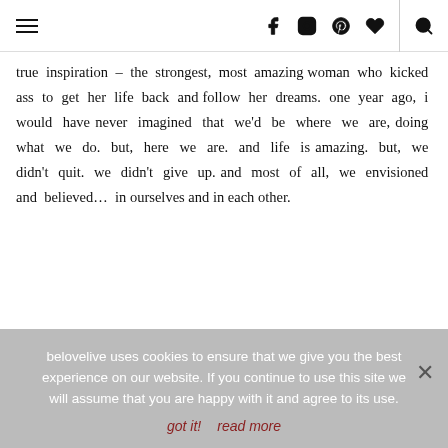Navigation header with hamburger menu, social icons (Facebook, Instagram, Pinterest, heart, search)
true inspiration – the strongest, most amazing woman who kicked ass to get her life back and follow her dreams. one year ago, i would have never imagined that we'd be where we are, doing what we do. but, here we are. and life is amazing. but, we didn't quit. we didn't give up. and most of all, we envisioned and believed… in ourselves and in each other.
belovelive uses cookies to ensure that we give you the best experience on our website. If you continue to use this site we will assume that you are happy with it and agree to its use.
got it!  read more